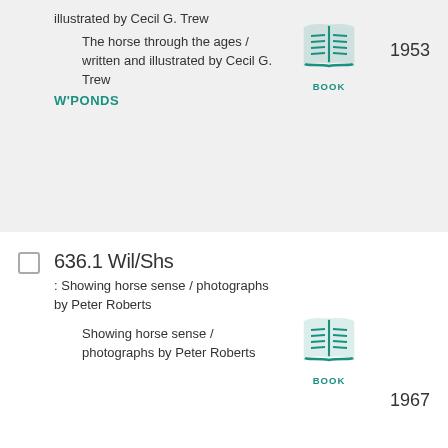illustrated by Cecil G. Trew
The horse through the ages / written and illustrated by Cecil G. Trew
[Figure (illustration): Book icon with teal color and label BOOK]
W'PONDS
1953
636.1 Wil/Shs
: Showing horse sense / photographs by Peter Roberts
Showing horse sense / photographs by Peter Roberts
[Figure (illustration): Book icon with teal color and label BOOK]
1967